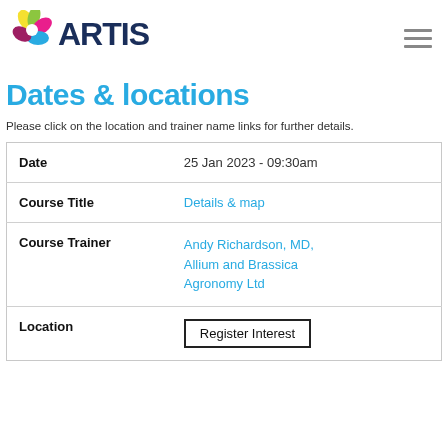[Figure (logo): ARTIS logo with colorful flower icon and dark blue ARTIS text, plus hamburger menu icon on the right]
Dates & locations
Please click on the location and trainer name links for further details.
| Date | 25 Jan 2023 - 09:30am |
| Course Title | Details & map |
| Course Trainer | Andy Richardson, MD, Allium and Brassica Agronomy Ltd |
| Location | Register Interest |